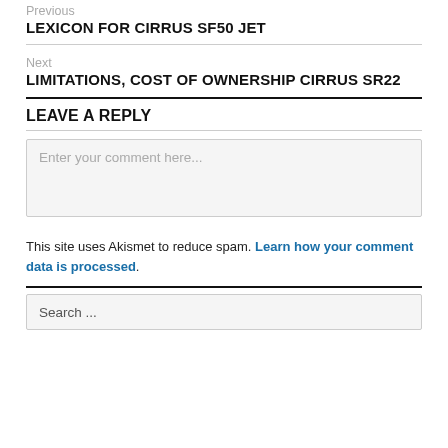Previous
LEXICON FOR CIRRUS SF50 JET
Next
LIMITATIONS, COST OF OWNERSHIP CIRRUS SR22
LEAVE A REPLY
Enter your comment here...
This site uses Akismet to reduce spam. Learn how your comment data is processed.
Search ...